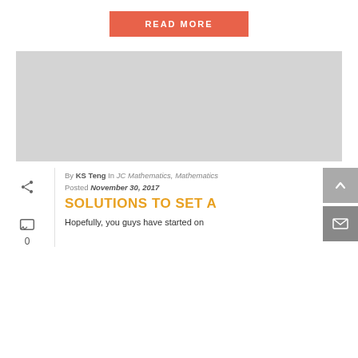READ MORE
[Figure (photo): Gray placeholder image block]
By KS Teng In JC Mathematics, Mathematics
Posted November 30, 2017
SOLUTIONS TO SET A
Hopefully, you guys have started on